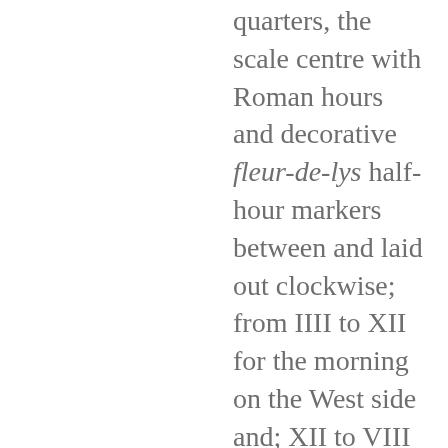quarters, the scale centre with Roman hours and decorative fleur-de-lys half-hour markers between and laid out clockwise; from IIII to XII for the morning on the West side and; XII to VIII for the afternoon on the East side. The scale's outer division ring graduated to